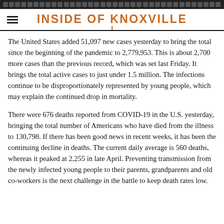INSIDE OF KNOXVILLE
The United States added 51,097 new cases yesterday to bring the total since the beginning of the pandemic to 2,779,953. This is about 2,700 more cases than the previous record, which was set last Friday. It brings the total active cases to just under 1.5 million. The infections continue to be disproportionately represented by young people, which may explain the continued drop in mortality.
There were 676 deaths reported from COVID-19 in the U.S. yesterday, bringing the total number of Americans who have died from the illness to 130,798. If there has been good news in recent weeks, it has been the continuing decline in deaths. The current daily average is 560 deaths, whereas it peaked at 2,255 in late April. Preventing transmission from the newly infected young people to their parents, grandparents and old co-workers is the next challenge in the battle to keep death rates low.